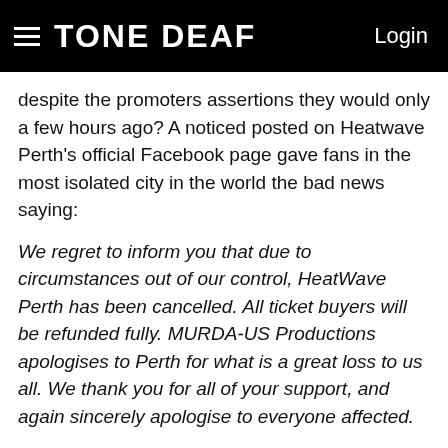TONE DEAF  Login
despite the promoters assertions they would only a few hours ago? A noticed posted on Heatwave Perth's official Facebook page gave fans in the most isolated city in the world the bad news saying:
We regret to inform you that due to circumstances out of our control, HeatWave Perth has been cancelled. All ticket buyers will be refunded fully. MURDA-US Productions apologises to Perth for what is a great loss to us all. We thank you for all of your support, and again sincerely apologise to everyone affected.
The event cancellation is just the latest in a string of mishaps for the festival, including the recent investigation by the NSW Department of Fair Trading who have demanded the festival offer refunds to those who want them in Sydney due to misleading advertising.